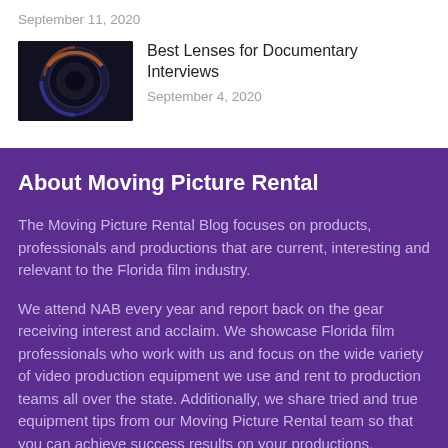September 11, 2020
[Figure (photo): Close-up of a camera lens with orange and blue lighting on dark background]
Best Lenses for Documentary Interviews
September 4, 2020
About Moving Picture Rental
The Moving Picture Rental Blog focuses on products, professionals and productions that are current, interesting and relevant to the Florida film industry.
We attend NAB every year and report back on the gear receiving interest and acclaim.  We showcase Florida film professionals who work with us and focus on the wide variety of video production equipment we use and rent to production teams all over the state.  Additionally, we share tried and true equipment tips from our Moving Picture Rental team so that you can achieve success results on your productions.